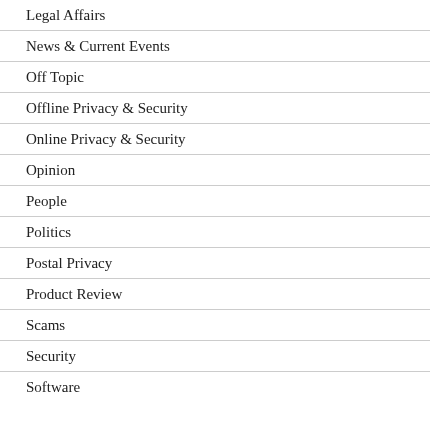Legal Affairs
News & Current Events
Off Topic
Offline Privacy & Security
Online Privacy & Security
Opinion
People
Politics
Postal Privacy
Product Review
Scams
Security
Software